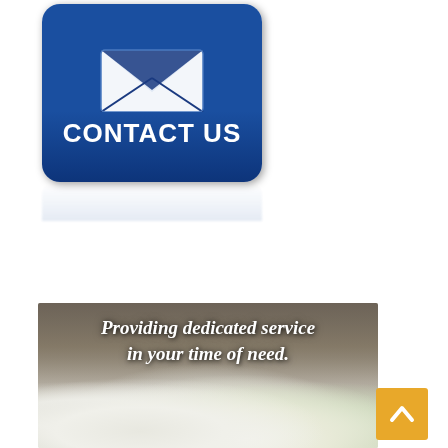[Figure (illustration): Blue contact us button with envelope icon and 'CONTACT US' text, with reflection below]
[Figure (photo): Banner image showing white flowers (roses, lilies) with italic bold text overlay: 'Providing dedicated service in your time of need.' on a dark/wooden background]
[Figure (illustration): Golden/yellow scroll-to-top button with upward chevron arrow, positioned bottom right]